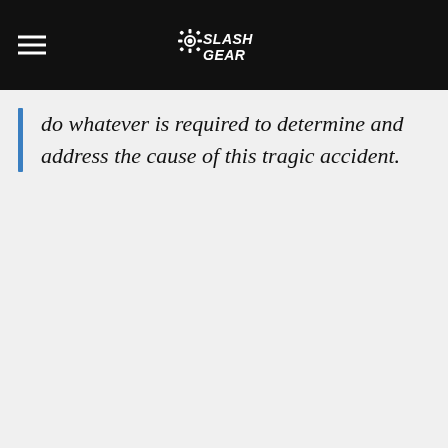SlashGear
do whatever is required to determine and address the cause of this tragic accident.